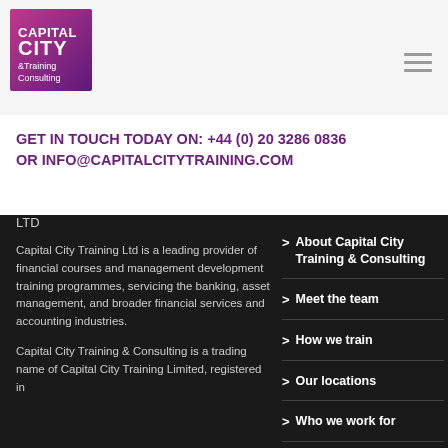[Figure (logo): Capital City Training & Consulting logo — purple/pink gradient square with white bold text CAPITAL CITY and smaller text & Training Consulting]
GET IN TOUCH TODAY ON: +44 (0) 20 3286 0836 OR INFO@CAPITALCITYTRAINING.COM
LTD
Capital City Training Ltd is a leading provider of financial courses and management development training programmes, servicing the banking, asset management, and broader financial services and accounting industries.
Capital City Training & Consulting is a trading name of Capital City Training Limited, registered in
About Capital City Training & Consulting
Meet the team
How we train
Our locations
Who we work for